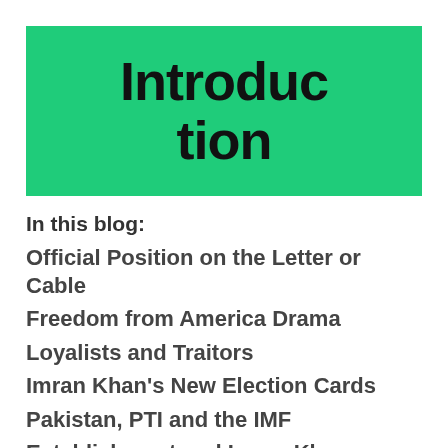Introduction
In this blog:
Official Position on the Letter or Cable
Freedom from America Drama
Loyalists and Traitors
Imran Khan's New Election Cards
Pakistan, PTI and the IMF
Establishment and Imran Khan